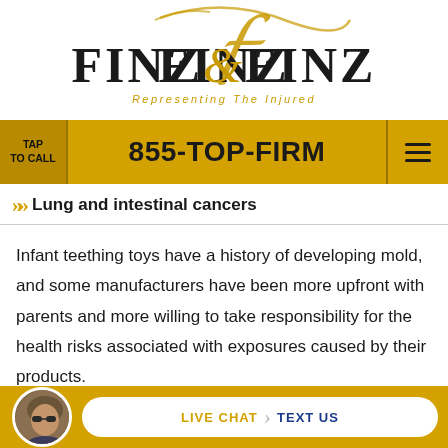[Figure (logo): Finz & Finz law firm logo with gold script overlay and tagline 'Representing The Injured']
TAP TO CALL  855-TOP-FIRM
Lung and intestinal cancers
Infant teething toys have a history of developing mold, and some manufacturers have been more upfront with parents and more willing to take responsibility for the health risks associated with exposures caused by their products.
[Figure (infographic): Bottom bar with attorney avatar, Live Chat and Text Us buttons on gold background]